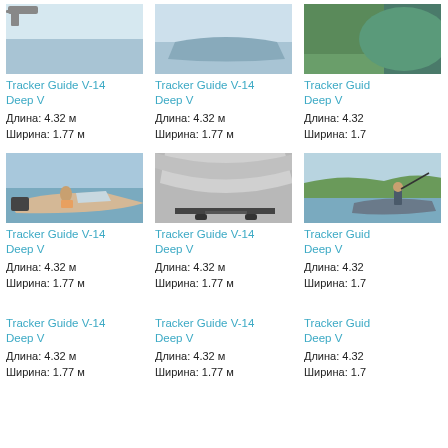[Figure (photo): Boat on water, partially cropped at top]
Tracker Guide V-14 Deep V
Длина: 4.32 м
Ширина: 1.77 м
[Figure (photo): Boat on water, partially cropped at top]
Tracker Guide V-14 Deep V
Длина: 4.32 м
Ширина: 1.77 м
[Figure (photo): Boat partially cropped at top right]
Tracker Guide V-14 Deep V
Длина: 4.32 м
Ширина: 1.77 м
[Figure (photo): Beige/tan speedboat on water with person riding]
Tracker Guide V-14 Deep V
Длина: 4.32 м
Ширина: 1.77 м
[Figure (photo): Close-up of boat hull/cover, gray, on trailer]
Tracker Guide V-14 Deep V
Длина: 4.32 м
Ширина: 1.77 м
[Figure (photo): Person fishing from a small boat on a lake]
Tracker Guide V-14 Deep V
Длина: 4.32 м
Ширина: 1.77 м
Tracker Guide V-14 Deep V
Длина: 4.32 м
Ширина: 1.77 м
Tracker Guide V-14 Deep V
Длина: 4.32 м
Ширина: 1.77 м
Tracker Guide V-14 Deep V
Длина: 4.32 м
Ширина: 1.77 м